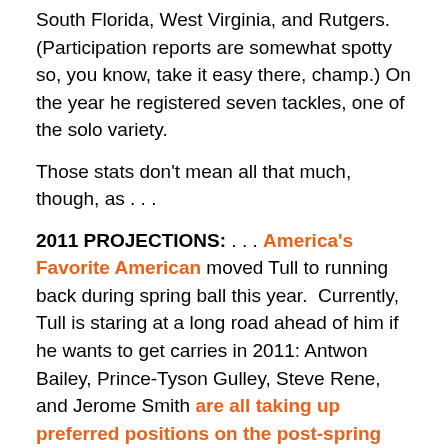South Florida, West Virginia, and Rutgers. (Participation reports are somewhat spotty so, you know, take it easy there, champ.) On the year he registered seven tackles, one of the solo variety.
Those stats don't mean all that much, though, as . . .
2011 PROJECTIONS: . . . America's Favorite American moved Tull to running back during spring ball this year. Currently, Tull is staring at a long road ahead of him if he wants to get carries in 2011: Antwon Bailey, Prince-Tyson Gulley, Steve Rene, and Jerome Smith are all taking up preferred positions on the post-spring depth chart.
That chart, of course, doesn't even consider a guy like Adonis Ameen-Moore that will probably get a long look in August.